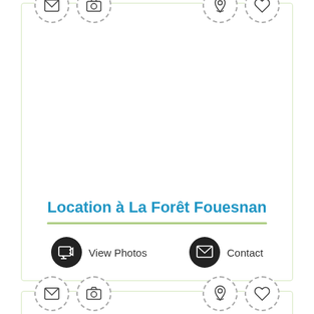[Figure (screenshot): Property listing card UI with icons for email, camera, location pin, and heart at top. Large empty image area in the middle. Title 'Location à La Forêt Fouesnan' in blue, green underline, and two buttons: 'View Photos' and 'Contact'.]
Location à La Forêt Fouesnan
[Figure (screenshot): Partial second property listing card UI with the same icon layout at top (email, camera, location pin, heart) and an empty image area below.]